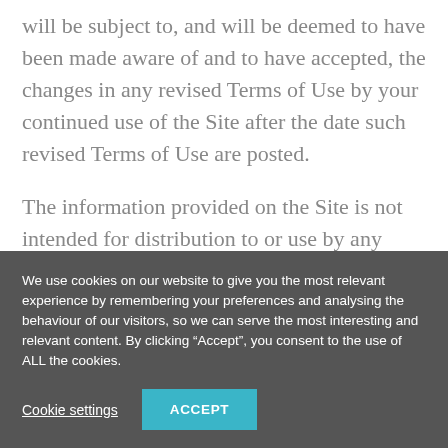will be subject to, and will be deemed to have been made aware of and to have accepted, the changes in any revised Terms of Use by your continued use of the Site after the date such revised Terms of Use are posted.
The information provided on the Site is not intended for distribution to or use by any person or entity in any jurisdiction or country where such
We use cookies on our website to give you the most relevant experience by remembering your preferences and analysing the behaviour of our visitors, so we can serve the most interesting and relevant content. By clicking “Accept”, you consent to the use of ALL the cookies.
Cookie settings
ACCEPT